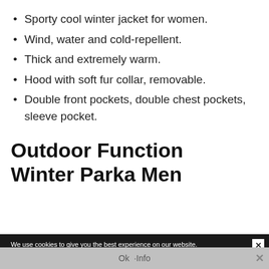Sporty cool winter jacket for women.
Wind, water and cold-repellent.
Thick and extremely warm.
Hood with soft fur collar, removable.
Double front pockets, double chest pockets, sleeve pocket.
Outdoor Function Winter Parka Men
We use cookies to give you the best experience on our website.
Ok  ·Info